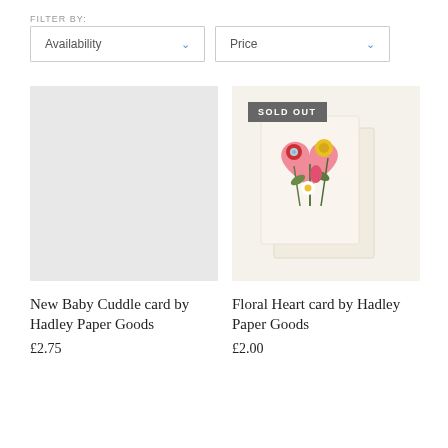FILTER BY:
Availability
Price
[Figure (photo): Empty light grey placeholder image for a product card (New Baby Cuddle card)]
[Figure (photo): Greeting card with a pink heart shape filled with illustrated flowers (red, yellow, white daisy, pink tulip) on a cream background with envelope, marked SOLD OUT]
New Baby Cuddle card by Hadley Paper Goods
£2.75
Floral Heart card by Hadley Paper Goods
£2.00